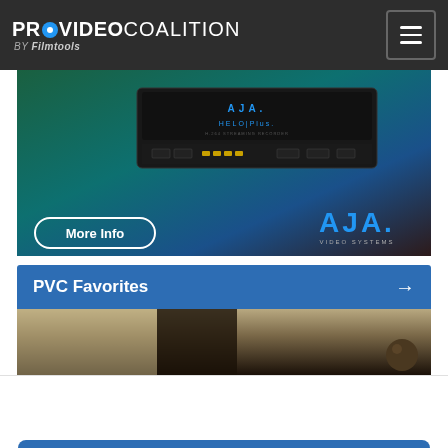PRO VIDEO COALITION BY Filmtools
[Figure (photo): AJA HELO Plus video streaming/recording device advertisement with teal/dark background, 'More Info' button and AJA Video Systems logo]
PVC Favorites →
[Figure (photo): Dark brown/tan interior room photo partial view]
Manage Cookie Consent
We use cookies to optimize our website and our service.
Accept